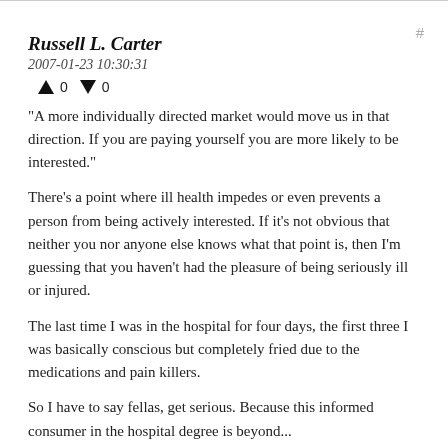Russell L. Carter
2007-01-23 10:30:31
▲ 0 ▼ 0
"A more individually directed market would move us in that direction. If you are paying yourself you are more likely to be interested."
There's a point where ill health impedes or even prevents a person from being actively interested. If it's not obvious that neither you nor anyone else knows what that point is, then I'm guessing that you haven't had the pleasure of being seriously ill or injured.
The last time I was in the hospital for four days, the first three I was basically conscious but completely fried due to the medications and pain killers.
So I have to say fellas, get serious. Because this informed consumer in the hospital degree is beyond...